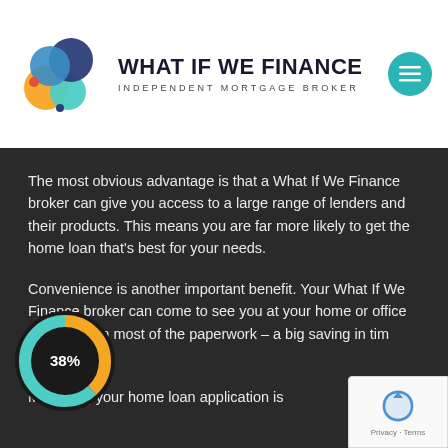[Figure (logo): What If We Finance logo — colorful interlocking people icon (orange, teal, dark blue, red circles) with bold text 'WHAT IF WE FINANCE' and subtitle 'INDEPENDENT MORTGAGE BROKER', plus a teal circular menu button on the right]
The most obvious advantage is that a What If We Finance broker can give you access to a large range of lenders and their products. This means you are far more likely to get the home loan that's best for your needs.
Convenience is another important benefit. Your What If We Finance broker can come to see you at your home or office and will fill in most of the paperwork – a big saving in time and hassle.
[Figure (donut-chart): Donut chart showing 38% in orange/teal colors on dark background]
Managing your home loan application is